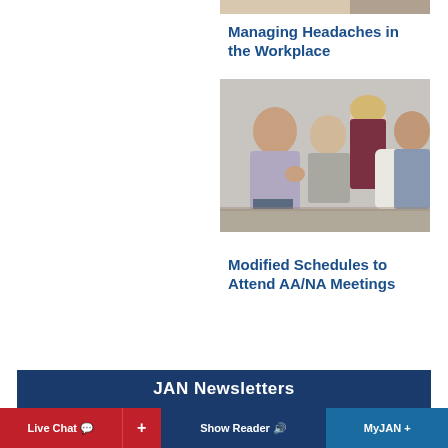[Figure (photo): Partial photo visible at top right of page, cropped]
Managing Headaches in the Workplace
[Figure (photo): Group of four adults sitting in a circle having a discussion, one man gesturing while speaking]
Modified Schedules to Attend AA/NA Meetings
JAN Newsletters
Live Chat  +  Show Reader  MyJAN